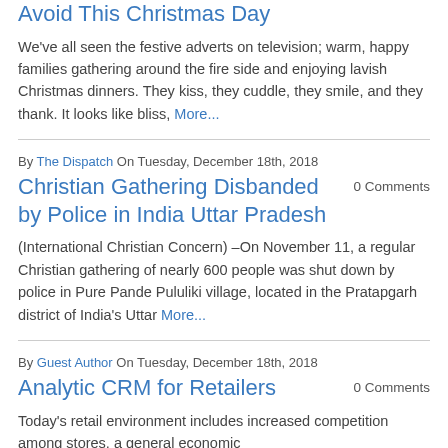Avoid This Christmas Day
We've all seen the festive adverts on television; warm, happy families gathering around the fire side and enjoying lavish Christmas dinners. They kiss, they cuddle, they smile, and they thank. It looks like bliss, More...
By The Dispatch On Tuesday, December 18th, 2018
Christian Gathering Disbanded by Police in India Uttar Pradesh
0 Comments
(International Christian Concern) –On November 11, a regular Christian gathering of nearly 600 people was shut down by police in Pure Pande Pululiki village, located in the Pratapgarh district of India's Uttar More...
By Guest Author On Tuesday, December 18th, 2018
Analytic CRM for Retailers
0 Comments
Today's retail environment includes increased competition among stores, a general economic